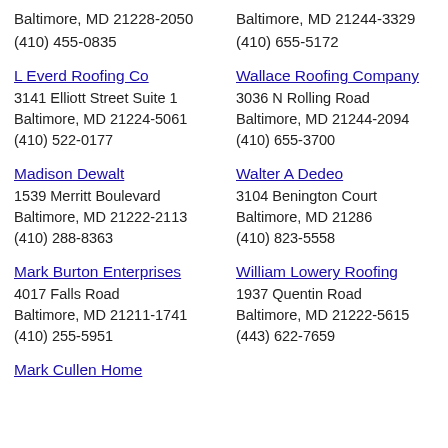Baltimore, MD 21228-2050
(410) 455-0835
Baltimore, MD 21244-3329
(410) 655-5172
L Everd Roofing Co
3141 Elliott Street Suite 1
Baltimore, MD 21224-5061
(410) 522-0177
Wallace Roofing Company
3036 N Rolling Road
Baltimore, MD 21244-2094
(410) 655-3700
Madison Dewalt
1539 Merritt Boulevard
Baltimore, MD 21222-2113
(410) 288-8363
Walter A Dedeo
3104 Benington Court
Baltimore, MD 21286
(410) 823-5558
Mark Burton Enterprises
4017 Falls Road
Baltimore, MD 21211-1741
(410) 255-5951
William Lowery Roofing
1937 Quentin Road
Baltimore, MD 21222-5615
(443) 622-7659
Mark Cullen Home